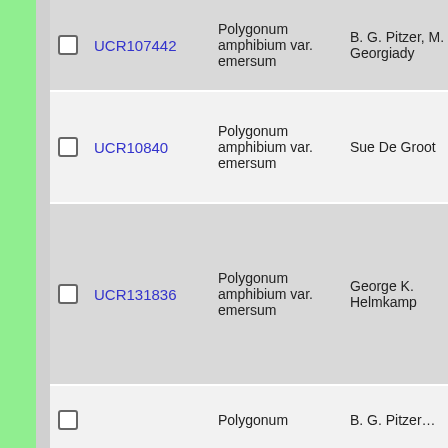|  | ID | Species | Collector | Date |
| --- | --- | --- | --- | --- |
| ☐ | UCR107442 | Polygonum amphibium var. emersum | B. G. Pitzer, M. Georgiady | 1997-8-1[truncated] |
| ☐ | UCR10840 | Polygonum amphibium var. emersum | Sue De Groot | 1962-9-1[truncated] |
| ☐ | UCR131836 | Polygonum amphibium var. emersum | George K. Helmkamp | 2003-10-[truncated] |
| ☐ | UCR1[truncated] | Polygonum [truncated] | B. G. Pitzer[truncated] | 200[truncated] |